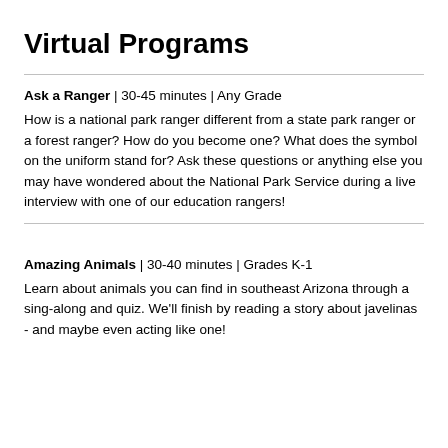Virtual Programs
Ask a Ranger | 30-45 minutes | Any Grade
How is a national park ranger different from a state park ranger or a forest ranger? How do you become one? What does the symbol on the uniform stand for? Ask these questions or anything else you may have wondered about the National Park Service during a live interview with one of our education rangers!
Amazing Animals | 30-40 minutes | Grades K-1
Learn about animals you can find in southeast Arizona through a sing-along and quiz. We'll finish by reading a story about javelinas - and maybe even acting like one!